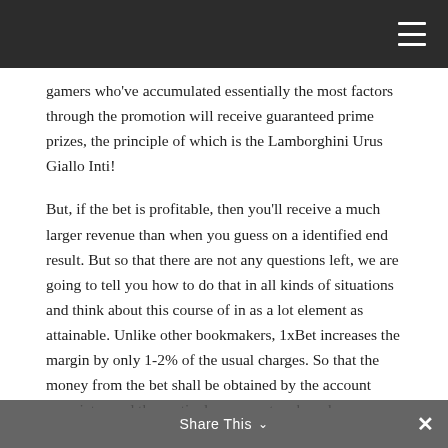gamers who've accumulated essentially the most factors through the promotion will receive guaranteed prime prizes, the principle of which is the Lamborghini Urus Giallo Inti!
But, if the bet is profitable, then you'll receive a much larger revenue than when you guess on a identified end result. But so that there are not any questions left, we are going to tell you how to do that in all kinds of situations and think about this course of in as a lot element as attainable. Unlike other bookmakers, 1xBet increases the margin by only 1-2% of the usual charges. So that the money from the bet shall be obtained by the account proprietor and the particular person to whom he was registered, and not by a third get together. Enter your profile on the social network
Share This